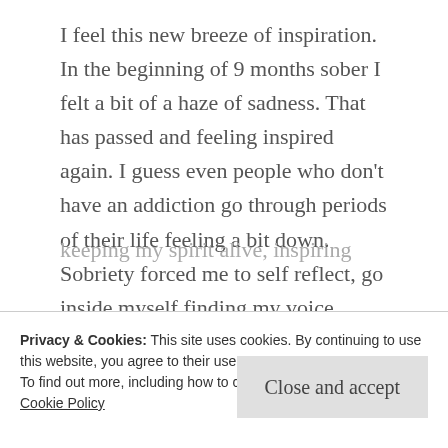I feel this new breeze of inspiration. In the beginning of 9 months sober I felt a bit of a haze of sadness. That has passed and feeling inspired again. I guess even people who don't have an addiction go through periods of their life feeling a bit down. Sobriety forced me to self reflect, go inside myself finding my voice, inner light, find out why I was so self abusive. In doing so I found a love for poetry.
Poetry, poems, and prose are given life after I write them. They live on hopefully connecting with others. I
keeping my spirit alive, inspiring them to self reflect
Privacy & Cookies: This site uses cookies. By continuing to use this website, you agree to their use.
To find out more, including how to control cookies, see here: Cookie Policy
Close and accept